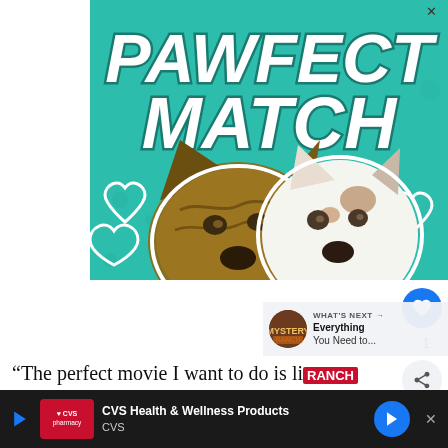[Figure (illustration): Advertisement banner for 'Pawfect Match' showing two dog heads (a brindle dog and a white dog) on a teal background with heart outlines and bold italic white text reading 'PAWFECT MATCH']
WHAT'S NEXT → Everything You Need to...
“The perfect movie I want to do is li[ke] [Jennifer Garner’s character] Sydney Bristow on [Alias], be[cause],
[Figure (illustration): CVS Health & Wellness Products advertisement banner at the bottom of the page on dark background, showing CVS pharmacy logo and a blue navigation arrow]